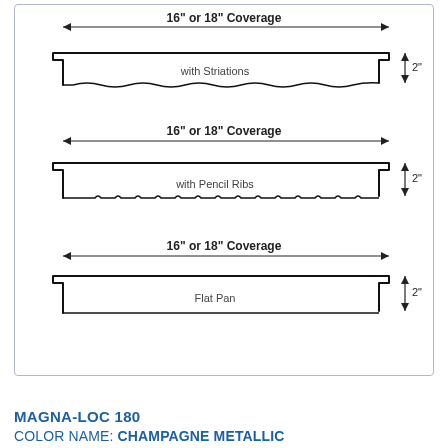[Figure (engineering-diagram): Three cross-section profile diagrams of metal roofing panels: top panel shows 'with Striations', middle shows 'with Pencil Ribs', bottom shows 'Flat Pan'. Each panel diagram has a dimension arrow indicating '16" or 18" Coverage' width and '2"' height on the right side.]
MAGNA-LOC 180
COLOR NAME: CHAMPAGNE METALLIC